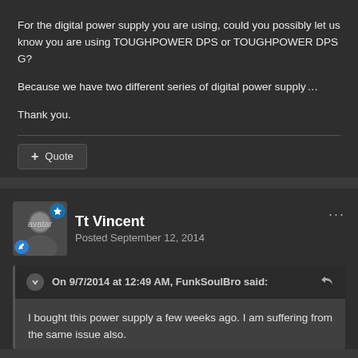For the digital power supply you are using, could you possibly let us know you are using TOUGHPOWER DPS or TOUGHPOWER DPS G?
Because we have two different series of digital power supply…
Thank you.
+ Quote
Tt Vincent
Posted September 12, 2014
On 9/7/2014 at 12:49 AM, FunkSoulBro said:
I bought this power supply a few weeks ago.  I am suffering from the same issue also.